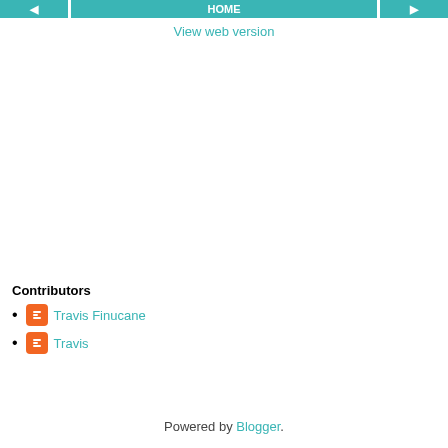◄  HOME  ►
View web version
Contributors
Travis Finucane
Travis
Powered by Blogger.